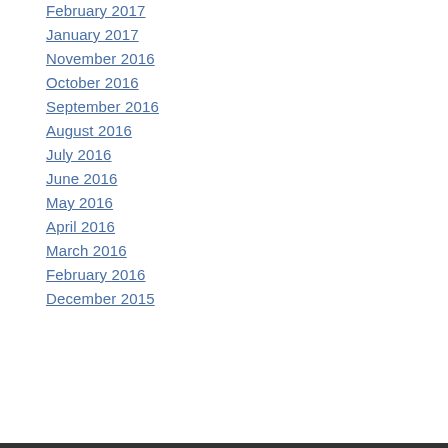February 2017
January 2017
November 2016
October 2016
September 2016
August 2016
July 2016
June 2016
May 2016
April 2016
March 2016
February 2016
December 2015